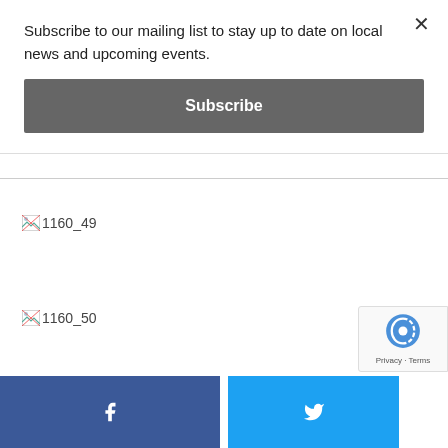Subscribe to our mailing list to stay up to date on local news and upcoming events.
Subscribe
[Figure (other): Broken image placeholder labeled 1160_49]
[Figure (other): Broken image placeholder labeled 1160_50]
Facebook share button and Twitter share button footer bar